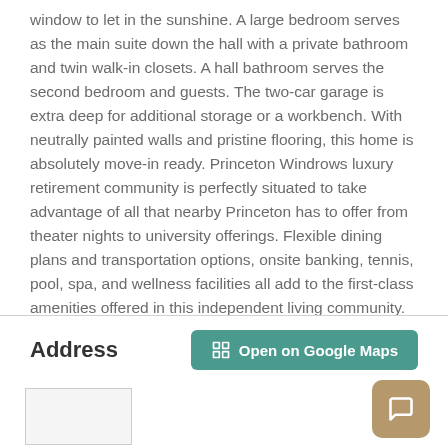window to let in the sunshine. A large bedroom serves as the main suite down the hall with a private bathroom and twin walk-in closets. A hall bathroom serves the second bedroom and guests. The two-car garage is extra deep for additional storage or a workbench. With neutrally painted walls and pristine flooring, this home is absolutely move-in ready. Princeton Windrows luxury retirement community is perfectly situated to take advantage of all that nearby Princeton has to offer from theater nights to university offerings. Flexible dining plans and transportation options, onsite banking, tennis, pool, spa, and wellness facilities all add to the first-class amenities offered in this independent living community.
Address
[Figure (map): Map thumbnail image of the property address location]